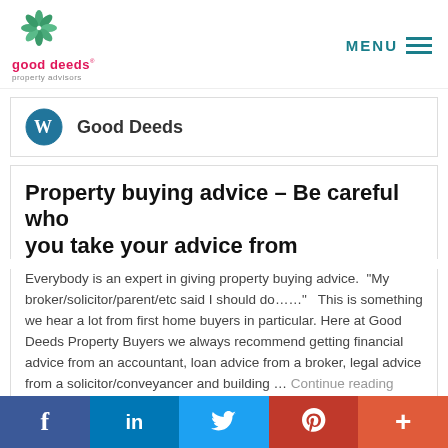Good Deeds Property Advisors — MENU
Good Deeds
Property buying advice – Be careful who you take your advice from
Everybody is an expert in giving property buying advice. "My broker/solicitor/parent/etc said I should do……" This is something we hear a lot from first home buyers in particular. Here at Good Deeds Property Buyers we always recommend getting financial advice from an accountant, loan advice from a broker, legal advice from a solicitor/conveyancer and building … Continue reading